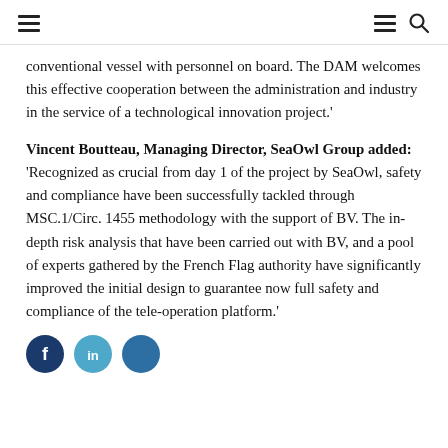≡  ≡ 🔍
conventional vessel with personnel on board. The DAM welcomes this effective cooperation between the administration and industry in the service of a technological innovation project.'
Vincent Boutteau, Managing Director, SeaOwl Group added: 'Recognized as crucial from day 1 of the project by SeaOwl, safety and compliance have been successfully tackled through MSC.1/Circ. 1455 methodology with the support of BV. The in-depth risk analysis that have been carried out with BV, and a pool of experts gathered by the French Flag authority have significantly improved the initial design to guarantee now full safety and compliance of the tele-operation platform.'
[Figure (illustration): Three social media icons (circles): Facebook dark blue, Twitter/LinkedIn light blue, another blue circle]